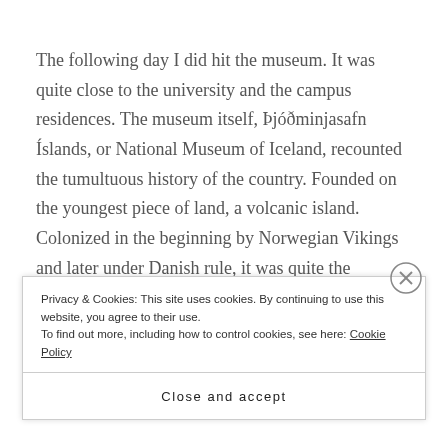The following day I did hit the museum. It was quite close to the university and the campus residences. The museum itself, Þjóðminjasafn Íslands, or National Museum of Iceland, recounted the tumultuous history of the country. Founded on the youngest piece of land, a volcanic island. Colonized in the beginning by Norwegian Vikings and later under Danish rule, it was quite the experience to go through the whole history of the country, its politics, religion and more modern
Privacy & Cookies: This site uses cookies. By continuing to use this website, you agree to their use.
To find out more, including how to control cookies, see here: Cookie Policy
Close and accept